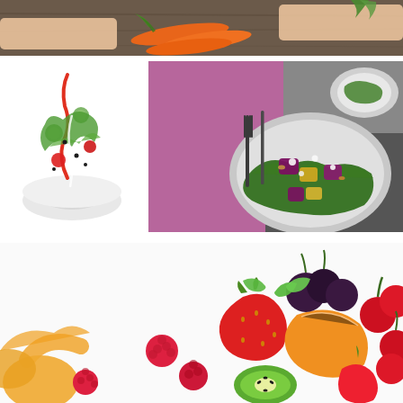[Figure (photo): Overhead view of hands holding carrots on a wooden surface, food preparation scene]
[Figure (photo): Flying salad bowl with vegetables including lettuce, tomatoes, cucumbers, peppers and black seeds on white background]
[Figure (photo): Plate of kale salad with beets, pineapple, feta cheese and nuts on pink cloth with fork and knife]
[Figure (photo): Close-up colorful fruit salad with strawberries, raspberries, cherries, orange segments, grapes and kiwi with mint leaves]